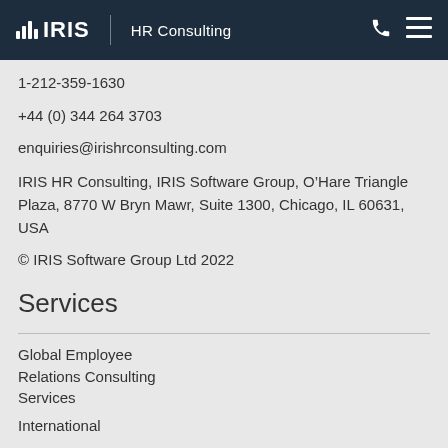IRIS HR Consulting
1-212-359-1630
+44 (0) 344 264 3703
enquiries@irishrconsulting.com
IRIS HR Consulting, IRIS Software Group, O’Hare Triangle Plaza, 8770 W Bryn Mawr, Suite 1300, Chicago, IL 60631, USA
© IRIS Software Group Ltd 2022
Services
Global Employee Relations Consulting Services
International